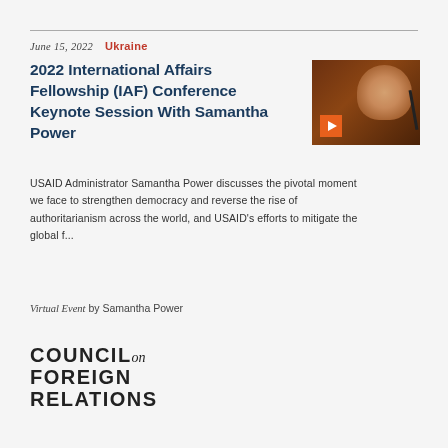June 15, 2022   Ukraine
2022 International Affairs Fellowship (IAF) Conference Keynote Session With Samantha Power
[Figure (photo): Thumbnail photo of Samantha Power at a microphone with an orange play button icon overlay, set against a dark brown background]
USAID Administrator Samantha Power discusses the pivotal moment we face to strengthen democracy and reverse the rise of authoritarianism across the world, and USAID's efforts to mitigate the global f...
Virtual Event by Samantha Power
[Figure (logo): Council on Foreign Relations logo — bold uppercase text reading COUNCIL on FOREIGN RELATIONS]